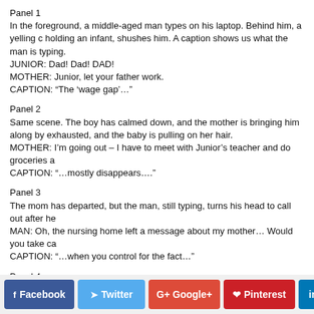Panel 1
In the foreground, a middle-aged man types on his laptop. Behind him, a yelling c holding an infant, shushes him. A caption shows us what the man is typing.
JUNIOR: Dad! Dad! DAD!
MOTHER: Junior, let your father work.
CAPTION: “The ‘wage gap’…”
Panel 2
Same scene. The boy has calmed down, and the mother is bringing him along by exhausted, and the baby is pulling on her hair.
MOTHER: I'm going out – I have to meet with Junior's teacher and do groceries a
CAPTION: “…mostly disappears….”
Panel 3
The mom has departed, but the man, still typing, turns his head to call out after he
MAN: Oh, the nursing home left a message about my mother… Would you take ca
CAPTION: “…when you control for the fact…”
Panel 4
The man turns back to typing.
MAN (thought balloon): Hope she makes stew for dinner tonight.
CAPTION: “…that women work far fewer hours than men.”
Facebook  Twitter  Google+  Pinterest  LinkedIn  digg